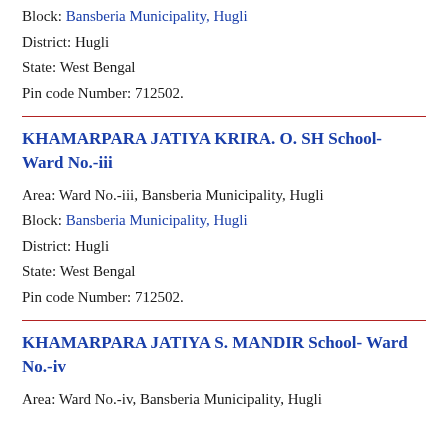Block: Bansberia Municipality, Hugli
District: Hugli
State: West Bengal
Pin code Number: 712502.
KHAMARPARA JATIYA KRIRA. O. SH School- Ward No.-iii
Area: Ward No.-iii, Bansberia Municipality, Hugli
Block: Bansberia Municipality, Hugli
District: Hugli
State: West Bengal
Pin code Number: 712502.
KHAMARPARA JATIYA S. MANDIR School- Ward No.-iv
Area: Ward No.-iv, Bansberia Municipality, Hugli